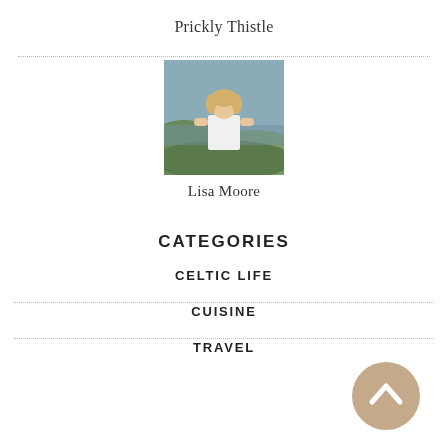Prickly Thistle
[Figure (photo): Photo of Lisa Moore, a woman with blonde hair wearing a white top, sitting outdoors near water with greenery in the background]
Lisa Moore
CATEGORIES
CELTIC LIFE
CUISINE
TRAVEL